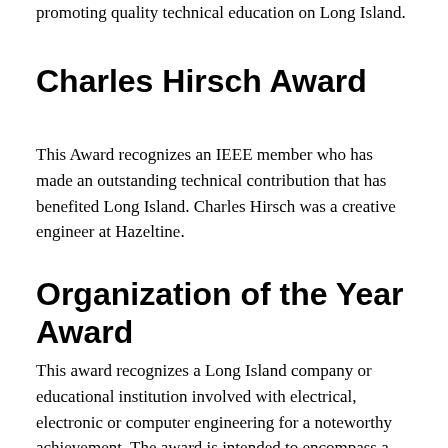promoting quality technical education on Long Island.
Charles Hirsch Award
This Award recognizes an IEEE member who has made an outstanding technical contribution that has benefited Long Island. Charles Hirsch was a creative engineer at Hazeltine.
Organization of the Year Award
This award recognizes a Long Island company or educational institution involved with electrical, electronic or computer engineering for a noteworthy achievement. The award is intended to encompass a broad category of achievements that can include areas such as a new product or system, as well as providing significant assistance